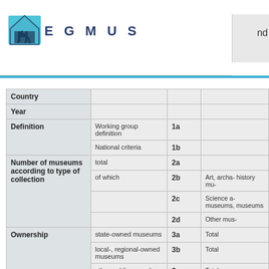EGMUS — Home > Statistics
| Category | Sub-category | Code | Detail |
| --- | --- | --- | --- |
| Country |  |  |  |
| Year |  |  |  |
| Definition | Working group definition | 1a |  |
|  | National criteria | 1b |  |
| Number of museums according to type of collection | total | 2a |  |
|  | of which | 2b | Art, archa- history mu- |
|  |  | 2c | Science a- museums, museums |
|  |  | 2d | Other mus- |
| Ownership | state-owned museums | 3a | Total |
|  | local-, regional-owned museums | 3b | Total |
|  | other public-owned museums | 3c | Total |